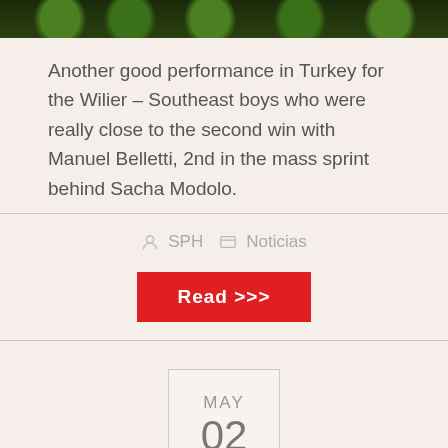[Figure (photo): Photo of cycling team in green jerseys, cropped at top of page]
Another good performance in Turkey for the Wilier – Southeast boys who were really close to the second win with Manuel Belletti, 2nd in the mass sprint behind Sacha Modolo.
SPH   Noticias
Read >>>
MAY 02
TOUR OF TURKEY: 2ND PLACE AND WHITE JERSEY FOR MANUEL BELLETT...